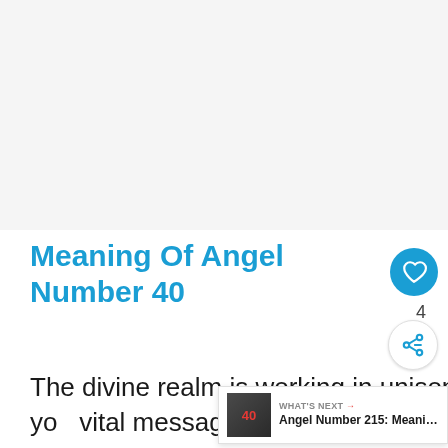[Figure (other): Advertisement placeholder area, light grey background]
Meaning Of Angel Number 40
The divine realm is working in unison with the universe to deliver you vital messages through the help of